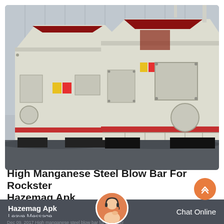[Figure (photo): Two large high manganese steel impact crusher machines (blow bars) in cream/white color with red accent stripe at the base, parked in an industrial yard with a corrugated metal building in the background. The machines are large boxy units with angular hopper openings at the top and bolted access panels on the sides.]
High Manganese Steel Blow Bar For Rockster Hazemag Apk
Leave Message
Chat Online
Dec 09, 2017 High manganese steel blow bar for Rockster